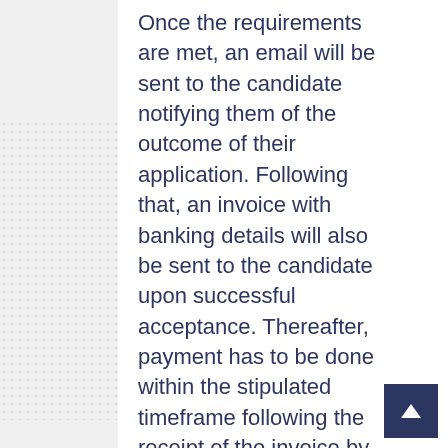Once the requirements are met, an email will be sent to the candidate notifying them of the outcome of their application. Following that, an invoice with banking details will also be sent to the candidate upon successful acceptance. Thereafter, payment has to be done within the stipulated timeframe following the receipt of the invoice by the candidate.